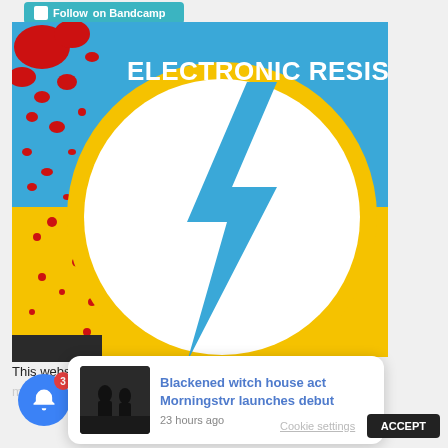[Figure (illustration): Follow on Bandcamp button in teal/cyan color at top left]
[Figure (illustration): Electronic Resistance album art: blue and yellow background with red splatter, white circle with yellow outline containing a blue lightning bolt, text 'ELECTRONIC RESISTANCE' in white bold at top]
[Figure (illustration): Close/X button dark circle at right side]
This website us
me you're
[Figure (illustration): Blue notification bell button with red badge showing '3']
[Figure (illustration): Notification popup showing dark photo thumbnail and text: 'Blackened witch house act Morningstvr launches debut' with '23 hours ago' timestamp]